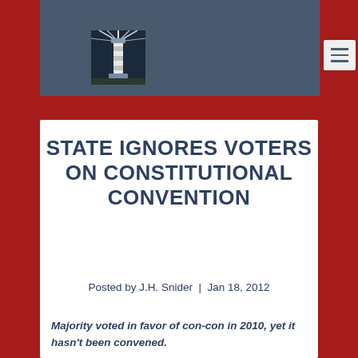STATE IGNORES VOTERS ON CONSTITUTIONAL CONVENTION
Posted by J.H. Snider | Jan 18, 2012
Majority voted in favor of con-con in 2010, yet it hasn't been convened.